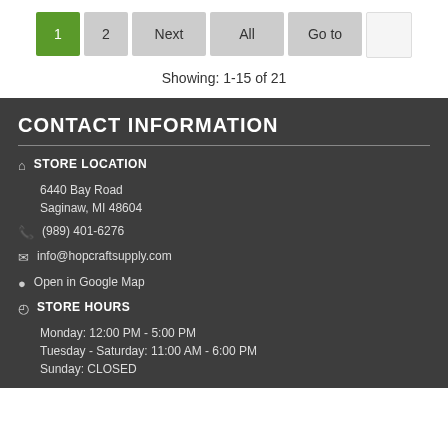1  2  Next  All  Go to  [input]
Showing: 1-15 of 21
CONTACT INFORMATION
🏠 STORE LOCATION
6440 Bay Road
Saginaw, MI 48604
📞 (989) 401-6276
✉ info@hopcraftsupply.com
📍 Open in Google Map
🕐 STORE HOURS
Monday: 12:00 PM - 5:00 PM
Tuesday - Saturday: 11:00 AM - 6:00 PM
Sunday: CLOSED